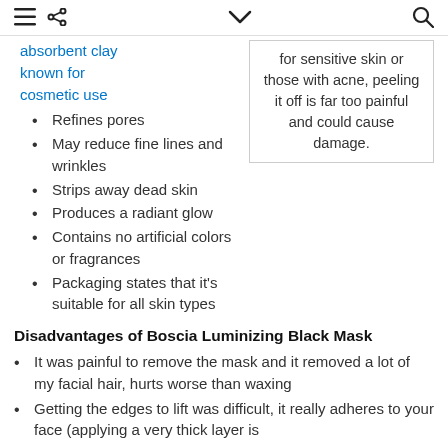[hamburger menu] [share] [chevron] [search]
absorbent clay known for cosmetic use
for sensitive skin or those with acne, peeling it off is far too painful and could cause damage.
Refines pores
May reduce fine lines and wrinkles
Strips away dead skin
Produces a radiant glow
Contains no artificial colors or fragrances
Packaging states that it's suitable for all skin types
Disadvantages of Boscia Luminizing Black Mask
It was painful to remove the mask and it removed a lot of my facial hair, hurts worse than waxing
Getting the edges to lift was difficult, it really adheres to your face (applying a very thick layer is